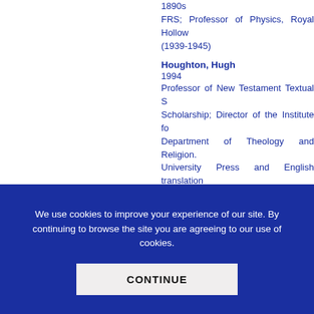1890s
FRS; Professor of Physics, Royal Hollow (1939-1945)
Houghton, Hugh
1994
Professor of New Testament Textual Scholarship; Director of the Institute for Department of Theology and Religion. University Press and English translation Aquileia. Co-convenor of the Birmingham
Jackson, J
c 1944
Professor of Geography, Brock University
We use cookies to improve your experience of our site. By continuing to browse the site you are agreeing to our use of cookies.
CONTINUE